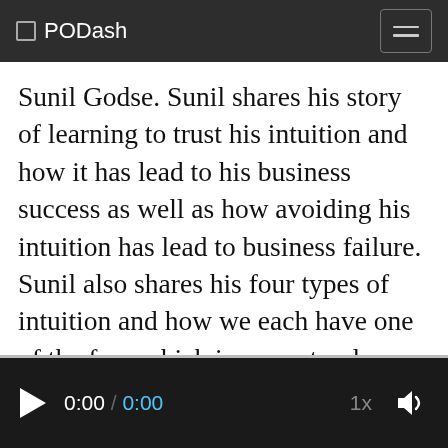◻ PODash
Sunil Godse. Sunil shares his story of learning to trust his intuition and how it has lead to his business success as well as how avoiding his intuition has lead to business failure. Sunil also shares his four types of intuition and how we each have one of the four which is our natural strength and tips for strengthening the other three. This episode gives tons of great insight...
▶  0:00 / 0:00   1x  🔊